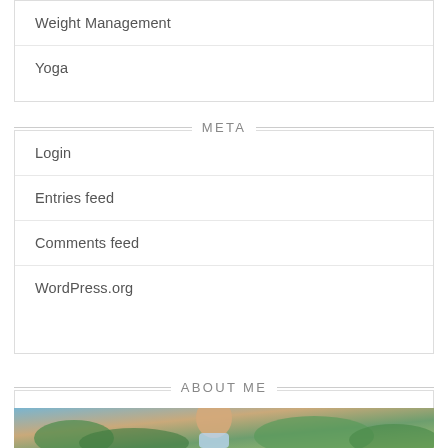Weight Management
Yoga
META
Login
Entries feed
Comments feed
WordPress.org
ABOUT ME
[Figure (photo): Partial view of a person outdoors with palm/tropical foliage in background]